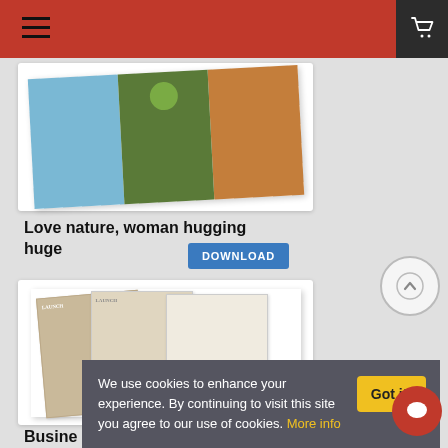Navigation header with hamburger menu and cart icon
[Figure (photo): Newsletter template thumbnail - Love nature, woman hugging huge tree, blue green brown columns]
Love nature, woman hugging huge
DOWNLOAD
[Figure (photo): Business newsletter template thumbnail - tan and cream columns with Launch text]
Busine
We use cookies to enhance your experience. By continuing to visit this site you agree to our use of cookies. More info
Got it!